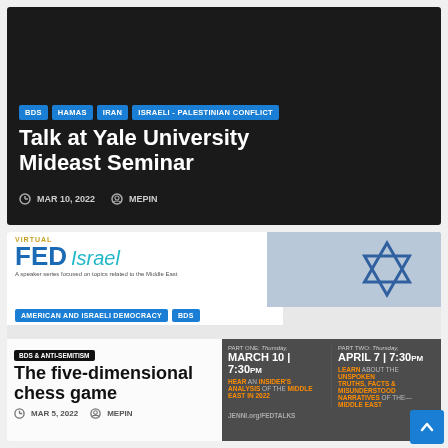[Figure (screenshot): Article card on dark background for 'Talk at Yale University Mideast Seminar' with tags BDS, HAMAS, IRAN, ISRAELI - PALESTINIAN CONFLICT, dated MAR 10, 2022, by MEPIN]
Talk at Yale University Mideast Seminar
[Figure (screenshot): Article card for 'The five-dimensional chess game' with Virtual FED Israel branding, tags AMERICAN AND ISRAELI DEMOCRACY, BDS, BDS & ANTI-SEMITISM, dated MAR 5, 2022, by MEPIN. Shows event details for Part One Thursday March 10 7:30pm and Part Two Thursday April 7 7:30pm.]
The five-dimensional chess game